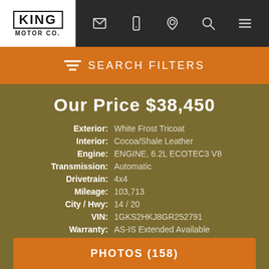KING MOTOR CO.
SEARCH FILTERS
Our Price $38,450
| Label | Value |
| --- | --- |
| Exterior: | White Frost Tricoat |
| Interior: | Cocoa/Shale Leather |
| Engine: | ENGINE, 6.2L ECOTEC3 V8 |
| Transmission: | Automatic |
| Drivetrain: | 4x4 |
| Mileage: | 103,713 |
| City / Hwy: | 14 / 20 |
| VIN: | 1GKS2HKJ8GR252791 |
| Warranty: | AS-IS Extended Available |
| Stock: | 252791 |
PHOTOS (158)